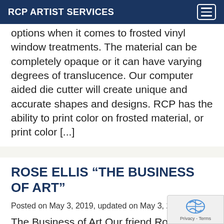RCP ARTIST SERVICES
options when it comes to frosted vinyl window treatments. The material can be completely opaque or it can have varying degrees of translucence. Our computer aided die cutter will create unique and accurate shapes and designs. RCP has the ability to print color on frosted material, or print color [...]
ROSE ELLIS “THE BUSINESS OF ART”
Posted on May 3, 2019, updated on May 3, 2019 by
The Business of Art Our friend Rose Ellis keen eye for design and really understands